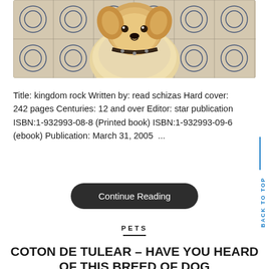[Figure (photo): A fluffy dog with an ornate collar sitting on decorative blue and white patterned tiles, photographed from above/front angle]
Title: kingdom rock Written by: read schizas Hard cover: 242 pages Centuries: 12 and over Editor: star publication ISBN:1-932993-08-8 (Printed book) ISBN:1-932993-09-6 (ebook) Publication: March 31, 2005  ...
Continue Reading
PETS
COTON DE TULEAR – HAVE YOU HEARD OF THIS BREED OF DOG